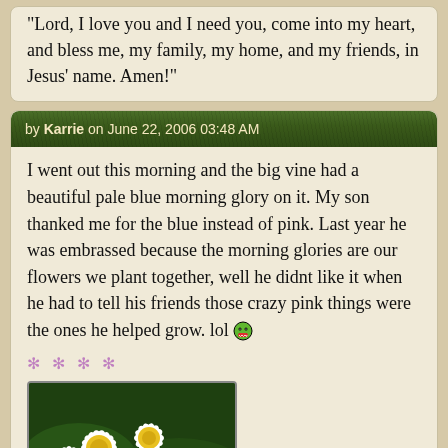"Lord, I love you and I need you, come into my heart, and bless me, my family, my home, and my friends, in Jesus' name. Amen!"
by Karrie on June 22, 2006 03:48 AM
I went out this morning and the big vine had a beautiful pale blue morning glory on it. My son thanked me for the blue instead of pink. Last year he was embrassed because the morning glories are our flowers we plant together, well he didnt like it when he had to tell his friends those crazy pink things were the ones he helped grow. lol
[Figure (photo): User avatar photo showing white daisy flowers with yellow centers against a green background, with the name 'Karrie' written in decorative red italic text at the bottom]
2000 Posts
It doesn't matter where you go in life... It's who you have